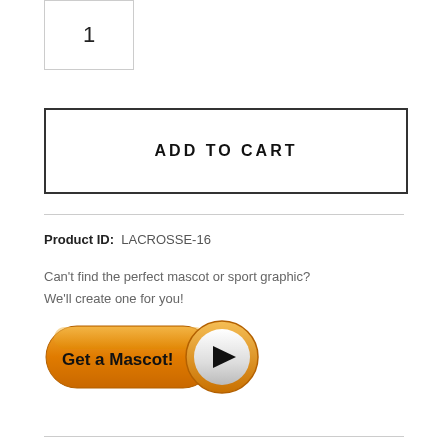1
ADD TO CART
Product ID:  LACROSSE-16
Can't find the perfect mascot or sport graphic?
We'll create one for you!
[Figure (illustration): Orange 'Get a Mascot!' button with play icon]